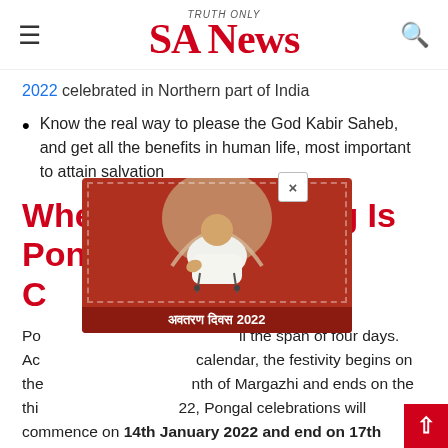SA News — TRUTH ONLY
2022 celebrated in Northern part of India
Know the real way to please the God Kabir Saheb, and get all the benefits in human life, most important to attain salvation
When and How Long Is Pongal Celebration?
Pongal covers all the span of four days. According to Tamil calendar, the festivity begins on the last day of month of Margazhi and ends on the third day. In 2022, Pongal celebrations will commence on 14th January 2022 and end on 17th January 2022.
[Figure (photo): Advertisement overlay showing a religious figure seated, with Hindi text 'अवतरण दिवस 2022' on a red background, with a close button (×) in the top right corner.]